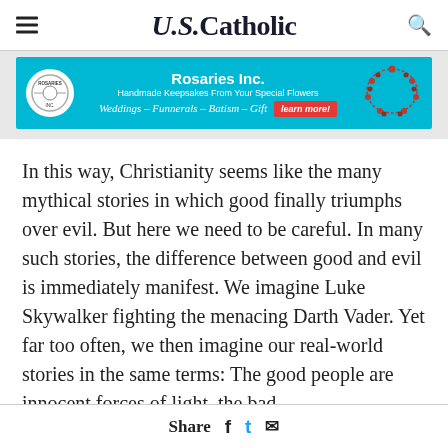U.S.Catholic
[Figure (infographic): Advertisement banner for Rosaries Inc. with teal background, logo, text 'Handmade Keepsakes From Your Special Flowers', 'Weddings – Funnerals – Batism – Gift', a red 'learn more!' button, and rosary image on the right.]
In this way, Christianity seems like the many mythical stories in which good finally triumphs over evil. But here we need to be careful. In many such stories, the difference between good and evil is immediately manifest. We imagine Luke Skywalker fighting the menacing Darth Vader. Yet far too often, we then imagine our real-world stories in the same terms: The good people are innocent forces of light, the bad
Share